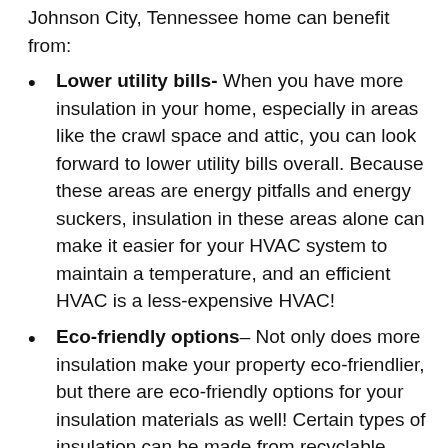Johnson City, Tennessee home can benefit from:
Lower utility bills- When you have more insulation in your home, especially in areas like the crawl space and attic, you can look forward to lower utility bills overall. Because these areas are energy pitfalls and energy suckers, insulation in these areas alone can make it easier for your HVAC system to maintain a temperature, and an efficient HVAC is a less-expensive HVAC!
Eco-friendly options– Not only does more insulation make your property eco-friendlier, but there are eco-friendly options for your insulation materials as well! Certain types of insulation can be made from recyclable materials to meet your green needs.
More comfortable living environment–